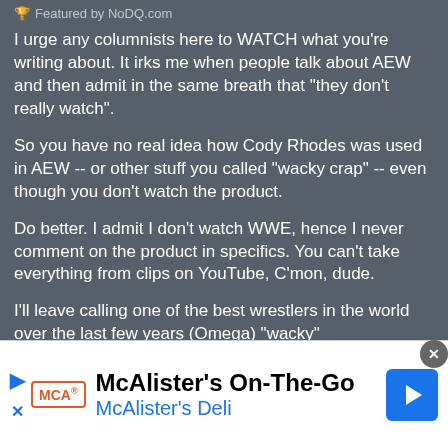Featured by NoDQ.com
I urge any columnists here to WATCH what you're writing about. It irks me when people talk about AEW and then admit in the same breath that "they don't really watch".
So you have no real idea how Cody Rhodes was used in AEW -- or other stuff you called "wacky crap" -- even though you don't watch the product.
Do better. I admit I don't watch WWE, hence I never comment on the product in specifics. You can't take everything from clips on YouTube, C'mon, dude.
I'll leave calling one of the best wrestlers in the world over the last few years (Omega) "wacky" alone...because that makes my head hurt too much.
[Figure (infographic): McAlister's On-The-Go advertisement banner with McAlister's Deli logo and blue navigation arrow icon]